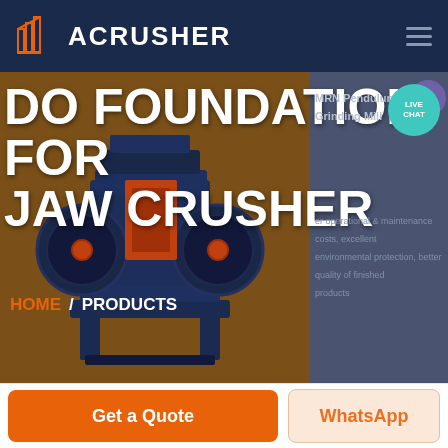ACRUSHER
DO FOUNDATION FOR JAW CRUSHER
MRN Pendulum Roller Grinding Mill
Lower operational & maintenance costs, excellent environmental protection, better quality of finished products
HOME / PRODUCTS
[Figure (screenshot): ACRUSHER website screenshot showing a jaw crusher machine on a brown/dark background with navigation header and breadcrumb navigation]
Get a Quote
WhatsApp